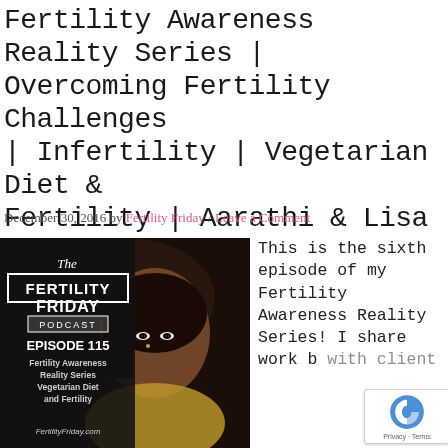Fertility Awareness Reality Series | Overcoming Fertility Challenges | Infertility | Vegetarian Diet & Fertility | Aarathi & Lisa
December 30, 2016 by Fertility Friday / Leave a Comment
[Figure (photo): Fertility Friday Podcast Episode 115 cover image showing a woman in traditional Indian attire with podcast branding overlay]
This is the sixth episode of my Fertility Awareness Reality Series! I share work b... with client...